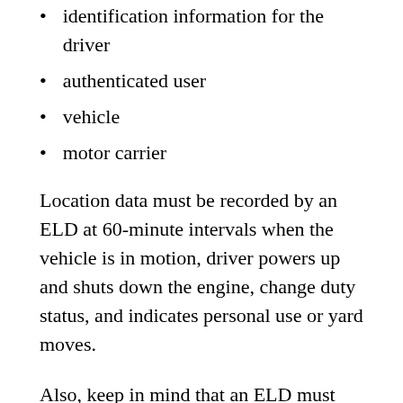identification information for the driver
authenticated user
vehicle
motor carrier
Location data must be recorded by an ELD at 60-minute intervals when the vehicle is in motion, driver powers up and shuts down the engine, change duty status, and indicates personal use or yard moves.
Also, keep in mind that an ELD must automatically switch to driving mode once the commercial motor vehicle (CMV) is moving up to a set speed threshold of five miles per hour. As a result, the in-motion state must not be configured greater than five miles per hour.